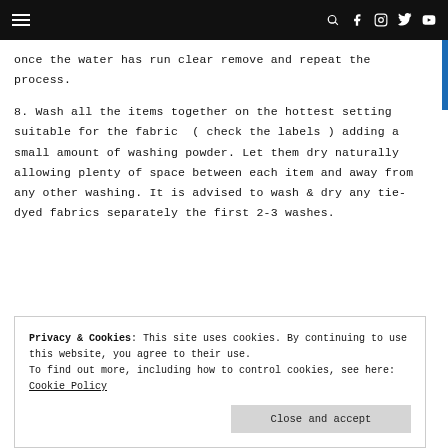Navigation bar with hamburger menu and social icons
once the water has run clear remove and repeat the process.
8. Wash all the items together on the hottest setting suitable for the fabric ( check the labels ) adding a small amount of washing powder. Let them dry naturally allowing plenty of space between each item and away from any other washing. It is advised to wash & dry any tie-dyed fabrics separately the first 2-3 washes.
Privacy & Cookies: This site uses cookies. By continuing to use this website, you agree to their use.
To find out more, including how to control cookies, see here:
Cookie Policy
Close and accept